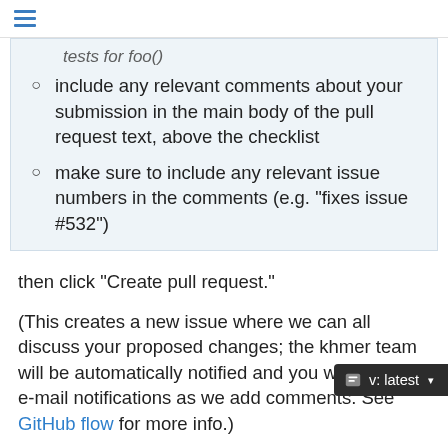≡
tests for foo()
include any relevant comments about your submission in the main body of the pull request text, above the checklist
make sure to include any relevant issue numbers in the comments (e.g. “fixes issue #532”)
then click “Create pull request.”
(This creates a new issue where we can all discuss your proposed changes; the khmer team will be automatically notified and you will receive e-mail notifications as we add comments. See GitHub flow for more info.)
10. Review the pull request checklist and make any